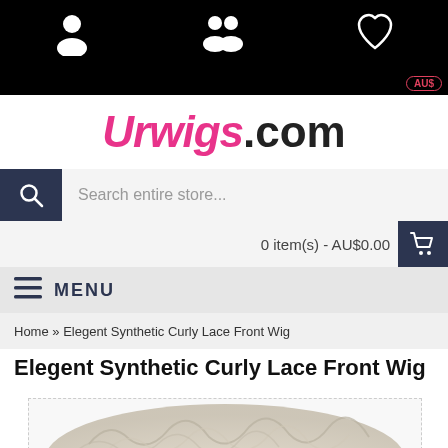Urwigs.com navigation bar with user, affiliate, and wishlist icons
AU$
Urwigs.com
Search entire store...
0 item(s) - AU$0.00
MENU
Home » Elegent Synthetic Curly Lace Front Wig
Elegent Synthetic Curly Lace Front Wig
[Figure (photo): Partial view of a curly lace front wig, blonde/silver tones, shown at bottom of page]